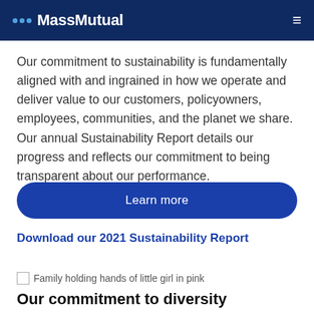MassMutual
Our commitment to sustainability is fundamentally aligned with and ingrained in how we operate and deliver value to our customers, policyowners, employees, communities, and the planet we share. Our annual Sustainability Report details our progress and reflects our commitment to being transparent about our performance.
Learn more
Download our 2021 Sustainability Report
[Figure (photo): Family holding hands of little girl in pink]
Our commitment to diversity